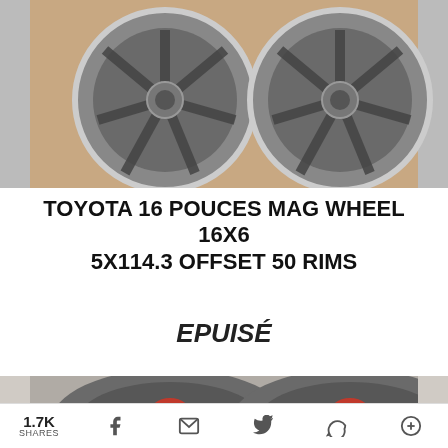[Figure (photo): Four Toyota dark gray alloy wheels (mag wheels) displayed on a wooden surface, viewed from above.]
TOYOTA 16 POUCES MAG WHEEL 16X6 5X114.3 OFFSET 50 RIMS
EPUISÉ
[Figure (photo): Partial view of dark gray alloy wheels with red center caps visible at the bottom of the page.]
1.7K SHARES  [Facebook] [Email] [Twitter] [WhatsApp] [+]